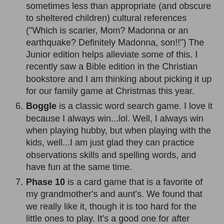sometimes less than appropriate (and obscure to sheltered children) cultural references ("Which is scarier, Mom? Madonna or an earthquake? Definitely Madonna, son!!") The Junior edition helps alleviate some of this. I recently saw a Bible edition in the Christian bookstore and I am thinking about picking it up for our family game at Christmas this year.
Boggle is a classic word search game. I love it because I always win...lol. Well, I always win when playing hubby, but when playing with the kids, well...I am just glad they can practice observations skills and spelling words, and have fun at the same time.
Phase 10 is a card game that is a favorite of my grandmother's and aunt's. We found that we really like it, though it is too hard for the little ones to play. It's a good one for after Thanksgiving dinner, though. Not too much activity...just a little thinking and some old-fashioned good luck of the draw.
Scattergories is a good one for a party. If youngers are playing, you can do teams. In this game, you are given a card with a list of topics (for example, "actors")